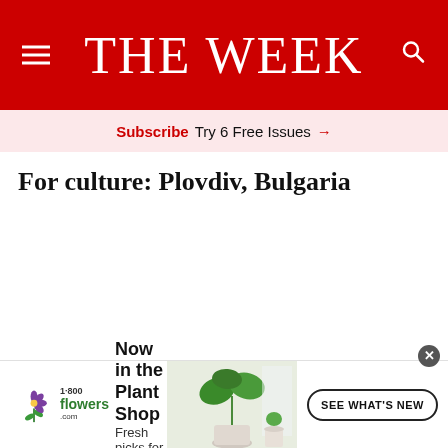THE WEEK
Subscribe  Try 6 Free Issues →
For culture: Plovdiv, Bulgaria
[Figure (illustration): Advertisement banner for 1-800-flowers.com showing a plant in a white pot with text 'Now in the Plant Shop - Fresh picks for summer' and a 'SEE WHAT'S NEW' button]